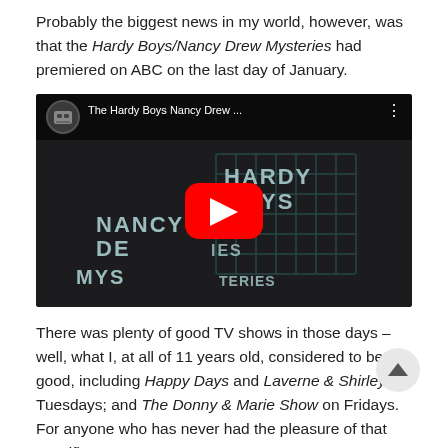Probably the biggest news in my world, however, was that the Hardy Boys/Nancy Drew Mysteries had premiered on ABC on the last day of January.
[Figure (screenshot): YouTube video thumbnail showing 'The Hardy Boys Nancy Drew ...' with a robot avatar icon, dark background with maze imagery and the text HARDY BOYS NANCY DREW MYSTERIES, and a red YouTube play button in the center.]
There was plenty of good TV shows in those days – well, what I, at all of 11 years old, considered to be good, including Happy Days and Laverne & Shirley on Tuesdays; and The Donny & Marie Show on Fridays. For anyone who has never had the pleasure of that specific